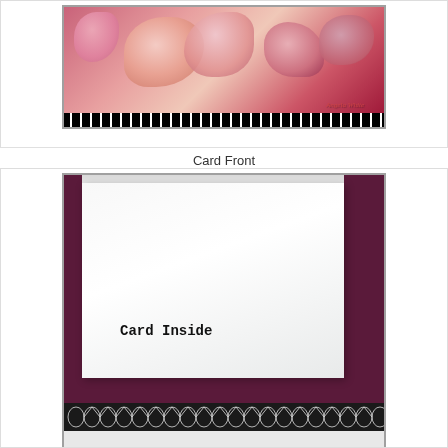[Figure (photo): Photo of a handmade card front showing pink and red floral arrangement with geometric black and white border pattern, red side borders, and a signature/website at the bottom.]
Card Front
[Figure (photo): Photo of the inside of a handmade card showing white paper on a purple/maroon background with 'Card Inside' printed in monospace font, and a black geometric diamond/circle pattern border at the bottom.]